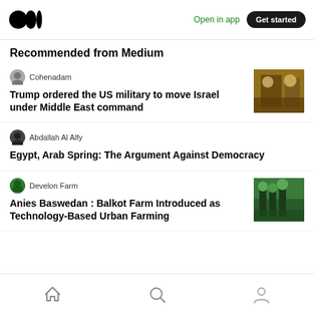Open in app | Get started
Recommended from Medium
Cohenadam — Trump ordered the US military to move Israel under Middle East command
Abdallah Al Alfy — Egypt, Arab Spring: The Argument Against Democracy
Develon Farm — Anies Baswedan : Balkot Farm Introduced as Technology-Based Urban Farming
Home | Search | Profile